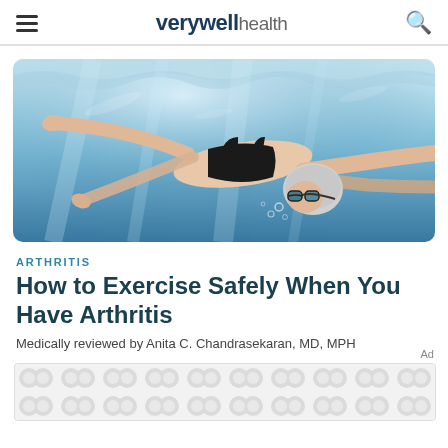verywell health
[Figure (photo): Underwater photo of a female swimmer in a black swimsuit and goggles swimming in a pool, arms extended forward in a streamlined position]
ARTHRITIS
How to Exercise Safely When You Have Arthritis
Medically reviewed by Anita C. Chandrasekaran, MD, MPH
[Figure (other): Advertisement banner with gray circular/hexagonal pattern]